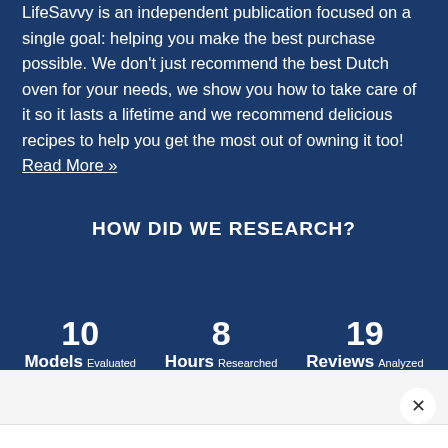LifeSavvy is an independent publication focused on a single goal: helping you make the best purchase possible. We don't just recommend the best Dutch oven for your needs, we show you how to take care of it so it lasts a lifetime and we recommend delicious recipes to help you get the most out of owning it too! Read More »
HOW DID WE RESEARCH?
10 Models Evaluated   8 Hours Researched   19 Reviews Analyzed